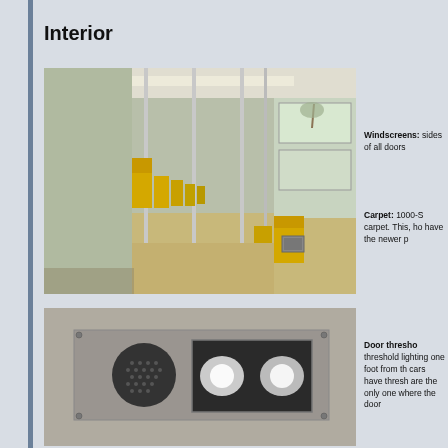Interior
[Figure (photo): Interior of a metro/subway rail car showing yellow seats along both sides, vertical grab poles, and windows. Carpeted floor visible.]
Windscreens: sides of all doors
Carpet: 1000-S carpet. This, ho have the newer p
[Figure (photo): Close-up of a door threshold panel on a rail car wall, showing a speaker grille on the left and illuminated threshold lighting panel on the right, with screws at corners.]
Door thresho threshold lighting one foot from th cars have thresh are the only one where the door